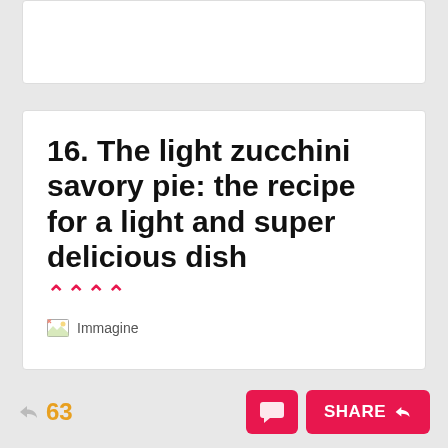16. The light zucchini savory pie: the recipe for a light and super delicious dish
[Figure (illustration): Placeholder image labeled 'Immagine' with small broken-image icon]
63  SHARE